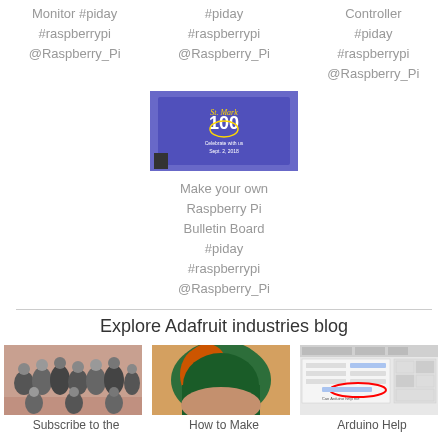Monitor #piday #raspberrypi @Raspberry_Pi
#piday #raspberrypi @Raspberry_Pi
Controller #piday #raspberrypi @Raspberry_Pi
[Figure (photo): A Raspberry Pi bulletin board display showing St. Mark 100 year anniversary on a blue screen]
Make your own Raspberry Pi Bulletin Board #piday #raspberrypi @Raspberry_Pi
Explore Adafruit industries blog
[Figure (photo): Group photo of people]
[Figure (photo): Woman with green and orange hair from behind]
[Figure (photo): Arduino software interface screenshot]
Subscribe to the
How to Make
Arduino Help